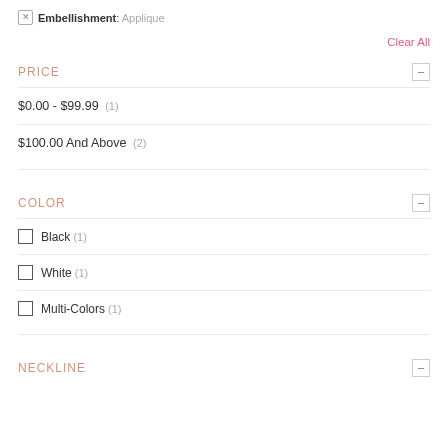Embellishment: Applique
Clear All
PRICE
$0.00 - $99.99 (1)
$100.00 And Above (2)
COLOR
Black (1)
White (1)
Multi-Colors (1)
NECKLINE